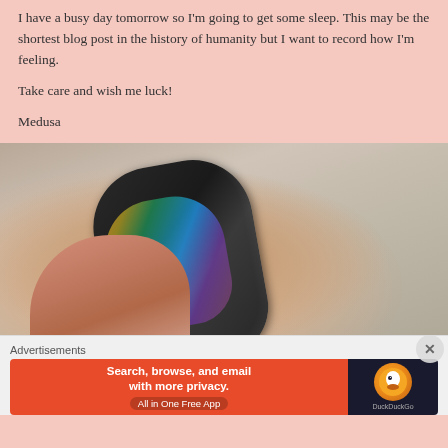I have a busy day tomorrow so I'm going to get some sleep. This may be the shortest blog post in the history of humanity but I want to record how I'm feeling.
Take care and wish me luck!
Medusa
[Figure (photo): Close-up photo of a hand holding a dark rounded rectangular object (possibly a ring or jewelry) with a rainbow iridescent sheen on its surface, against a light wooden background.]
Advertisements
[Figure (infographic): DuckDuckGo advertisement banner: orange/red background with text 'Search, browse, and email with more privacy. All in One Free App' and DuckDuckGo logo on dark background.]